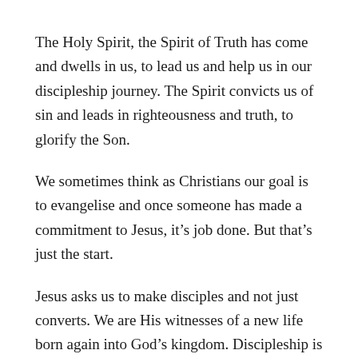The Holy Spirit, the Spirit of Truth has come and dwells in us, to lead us and help us in our discipleship journey. The Spirit convicts us of sin and leads in righteousness and truth, to glorify the Son.
We sometimes think as Christians our goal is to evangelise and once someone has made a commitment to Jesus, it’s job done. But that’s just the start.
Jesus asks us to make disciples and not just converts. We are His witnesses of a new life born again into God’s kingdom. Discipleship is to journey with people and requires love and commitment so that we become rooted and grounded in the truth of the gospel. It’s like bringing people into a family. You wouldn’t invite